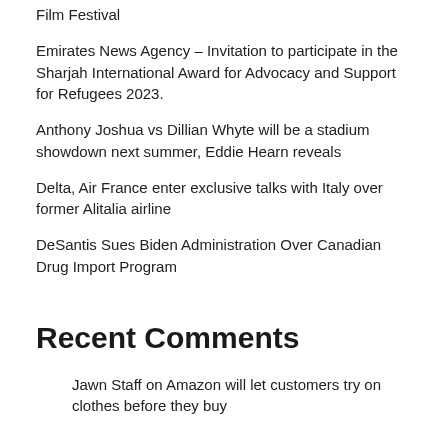Film Festival
Emirates News Agency – Invitation to participate in the Sharjah International Award for Advocacy and Support for Refugees 2023.
Anthony Joshua vs Dillian Whyte will be a stadium showdown next summer, Eddie Hearn reveals
Delta, Air France enter exclusive talks with Italy over former Alitalia airline
DeSantis Sues Biden Administration Over Canadian Drug Import Program
Recent Comments
Jawn Staff on Amazon will let customers try on clothes before they buy